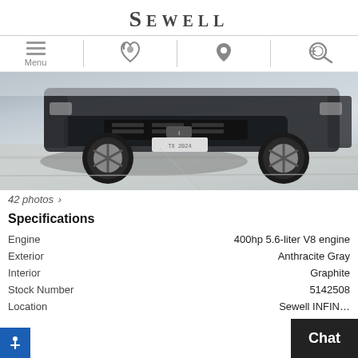SEWELL
[Figure (screenshot): Navigation bar with hamburger menu (Menu), phone icon, location pin icon, and search/car icon]
[Figure (photo): Front lower portion of a dark SUV (likely Infiniti QX80) photographed outdoors on a concrete surface]
42 photos >
Specifications
|  |  |
| --- | --- |
| Engine | 400hp 5.6-liter V8 engine |
| Exterior | Anthracite Gray |
| Interior | Graphite |
| Stock Number | 5142508 |
| Location | Sewell INFIN... |
[Figure (other): Chat button overlay in bottom right corner]